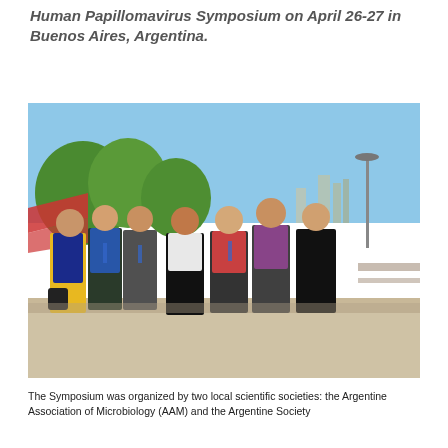Human Papillomavirus Symposium on April 26-27 in Buenos Aires, Argentina.
[Figure (photo): Group photo of seven women standing outdoors on a sunny day along a waterfront promenade in Buenos Aires. They are wearing conference lanyards and badges. Trees, a lamppost, and city skyline visible in background.]
The Symposium was organized by two local scientific societies: the Argentine Association of Microbiology (AAM) and the Argentine Society...